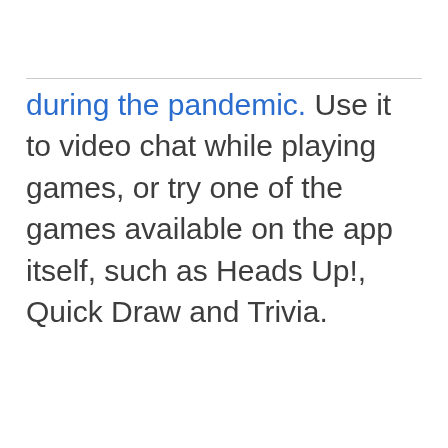during the pandemic. Use it to video chat while playing games, or try one of the games available on the app itself, such as Heads Up!, Quick Draw and Trivia.